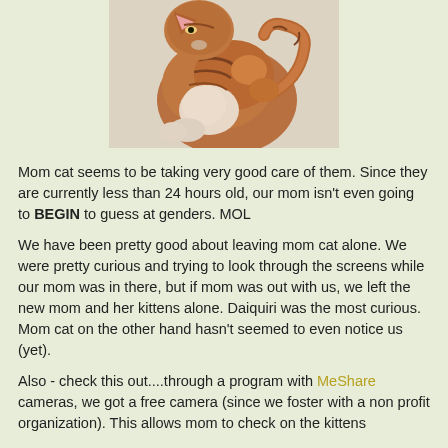[Figure (photo): A photo of a cat (orange/brown and white) curled up or grooming, against a light/beige background. Only the top portion is visible.]
Mom cat seems to be taking very good care of them. Since they are currently less than 24 hours old, our mom isn't even going to BEGIN to guess at genders.  MOL
We have been pretty good about leaving mom cat alone. We were pretty curious and trying to look through the screens while our mom was in there, but if mom was out with us, we left the new mom and her kittens alone. Daiquiri was the most curious. Mom cat on the other hand hasn't seemed to even notice us (yet).
Also - check this out....through a program with MeShare cameras, we got a free camera (since we foster with a non profit organization). This allows mom to check on the kittens